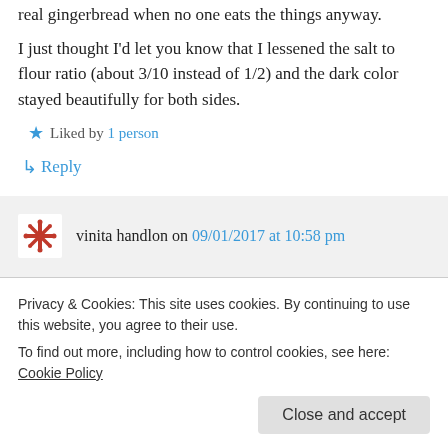real gingerbread when no one eats the things anyway.
I just thought I'd let you know that I lessened the salt to flour ratio (about 3/10 instead of 1/2) and the dark color stayed beautifully for both sides.
Liked by 1 person
↳ Reply
vinita handlon on 09/01/2017 at 10:58 pm
Privacy & Cookies: This site uses cookies. By continuing to use this website, you agree to their use. To find out more, including how to control cookies, see here: Cookie Policy